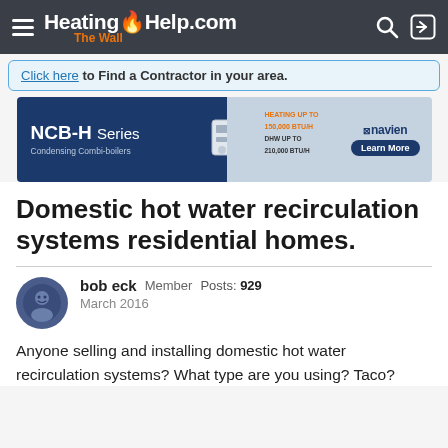HeatingHelp.com The Wall
Click here to Find a Contractor in your area.
[Figure (infographic): NCB-H Series Condensing Combi-boilers advertisement banner by Navien. Heating up to 150,000 BTU/H, DHW up to 210,000 BTU/H. Learn More button.]
Domestic hot water recirculation systems residential homes.
bob eck  Member  Posts: 929
March 2016
Anyone selling and installing domestic hot water recirculation systems? What type are you using? Taco?